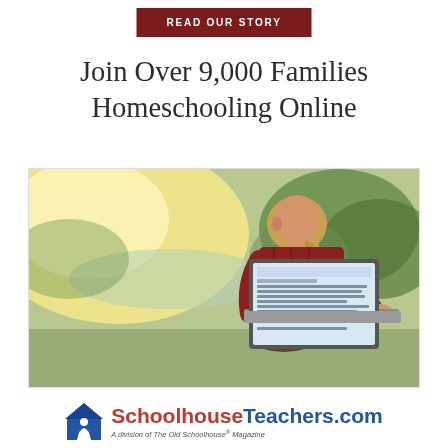READ OUR STORY
Join Over 9,000 Families Homeschooling Online
[Figure (photo): A girl with long blonde hair wearing a red plaid shirt sits outdoors using a laptop, viewed from behind, with a sunlit natural background.]
[Figure (logo): SchoolhouseTeachers.com logo with a blue house icon with a person figure, 'Schoolhouse' in red bold and 'Teachers.com' in blue bold, with subtitle 'A division of The Old Schoolhouse® Magazine']